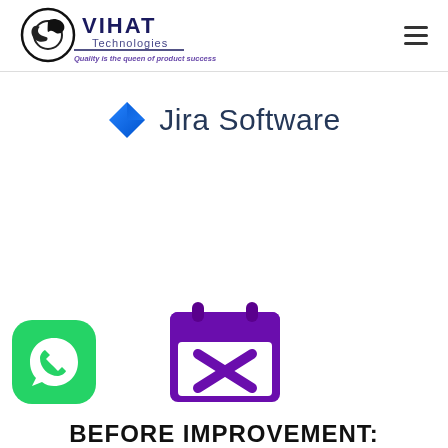[Figure (logo): Vihat Technologies logo with cobra snake and text 'VIHAT Technologies – Quality is the queen of product success']
[Figure (logo): Jira Software logo with blue diamond shape and text 'Jira Software']
[Figure (illustration): WhatsApp green rounded square icon with phone handset]
[Figure (illustration): Purple calendar icon with an X mark inside]
BEFORE IMPROVEMENT: